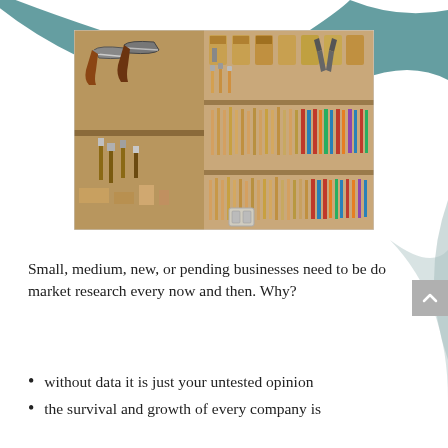[Figure (photo): A wall-mounted wooden pegboard workshop tool organizer with numerous hand tools including saws, planes, chisels, and other woodworking tools neatly arranged in rows.]
Small, medium, new, or pending businesses need to be do market research every now and then. Why?
without data it is just your untested opinion
the survival and growth of every company is